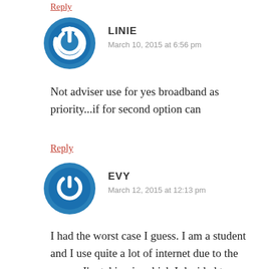Reply
LINIE
March 10, 2015 at 6:56 pm
Not adviser use for yes broadband as priority...if for second option can
Reply
EVY
March 12, 2015 at 12:13 pm
I had the worst case I guess. I am a student and I use quite a lot of internet due to the course I'm taking in which I decided to use YES. During the registration, the sales girl told me